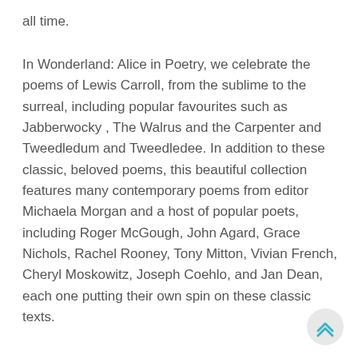all time.
In Wonderland: Alice in Poetry, we celebrate the poems of Lewis Carroll, from the sublime to the surreal, including popular favourites such as Jabberwocky , The Walrus and the Carpenter and Tweedledum and Tweedledee. In addition to these classic, beloved poems, this beautiful collection features many contemporary poems from editor Michaela Morgan and a host of popular poets, including Roger McGough, John Agard, Grace Nichols, Rachel Rooney, Tony Mitton, Vivian French, Cheryl Moskowitz, Joseph Coehlo, and Jan Dean, each one putting their own spin on these classic texts.
[Figure (other): Back to top button: a circular light grey button with a double upward chevron arrow icon in teal/cyan color]